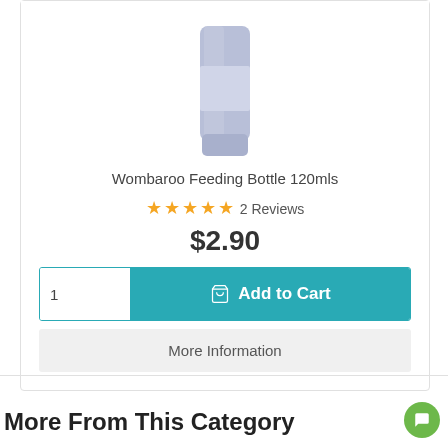[Figure (photo): Partial view of a Wombaroo feeding bottle (light blue/lavender color), shown from roughly the middle upward, cut off at the top of the image.]
Wombaroo Feeding Bottle 120mls
★★★★★ 2 Reviews
$2.90
1  Add to Cart
More Information
More From This Category